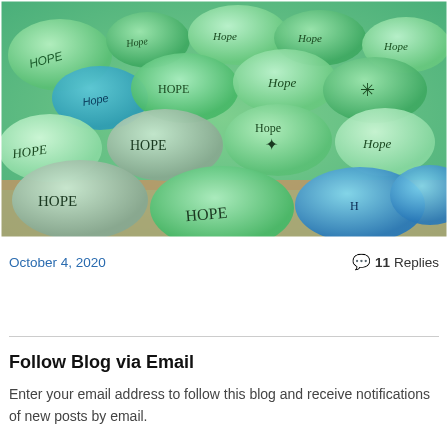[Figure (photo): A collection of smooth stones painted in shades of green, teal, and blue, each with the word 'Hope' written in various styles of lettering.]
October 4, 2020
💬 11 Replies
Follow Blog via Email
Enter your email address to follow this blog and receive notifications of new posts by email.